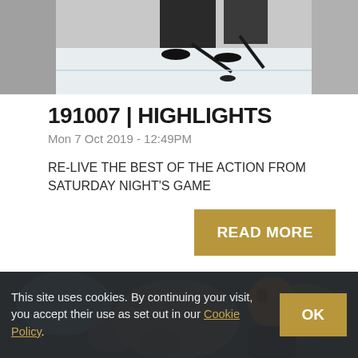[Figure (photo): Ice hockey players in action on the rink, partial top crop showing legs and sticks with a puck]
191007 | HIGHLIGHTS
Mon 7 Oct 2019 - 12:49PM
RE-LIVE THE BEST OF THE ACTION FROM SATURDAY NIGHT'S GAME
READ MORE
[Figure (photo): A man (likely a coach or broadcaster) in a crowd at an ice hockey arena, blurred colorful background]
This site uses cookies. By continuing your visit, you accept their use as set out in our Cookie Policy.